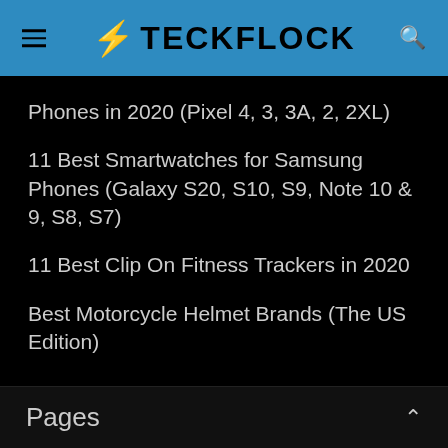⚡ TECKFLOCK
Phones in 2020 (Pixel 4, 3, 3A, 2, 2XL)
11 Best Smartwatches for Samsung Phones (Galaxy S20, S10, S9, Note 10 & 9, S8, S7)
11 Best Clip On Fitness Trackers in 2020
Best Motorcycle Helmet Brands (The US Edition)
Pages